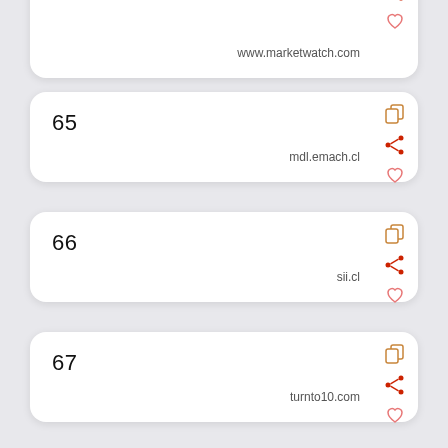64  www.marketwatch.com
65  mdl.emach.cl
66  sii.cl
67  turnto10.com